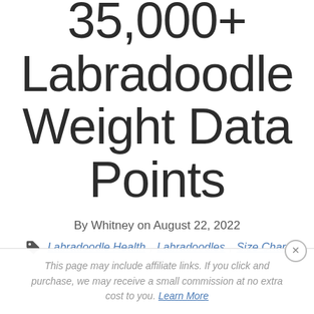35,000+ Labradoodle Weight Data Points
By Whitney on August 22, 2022
Labradoodle Health, Labradoodles, Size Chart
This page may include affiliate links. If you click and purchase, we may receive a small commission at no extra cost to you. Learn More